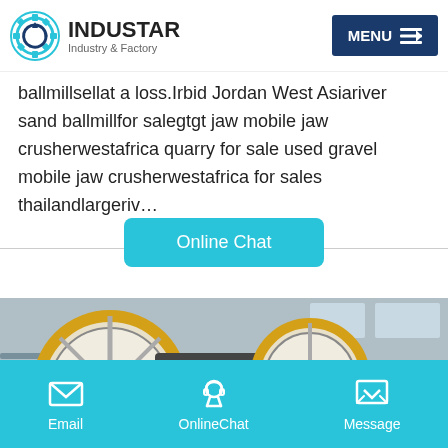INDUSTAR — Industry & Factory | MENU
ballmillsellat a loss.Irbid Jordan West Asiariver sand ballmillfor salegtgt jaw mobile jaw crusherwestafrica quarry for sale used gravel mobile jaw crusherwestafrica for sales thailandlargeriv…
Online Chat
[Figure (photo): Industrial machinery — jaw crusher equipment with large flywheels, white body, inside a factory building.]
Email   OnlineChat   Message